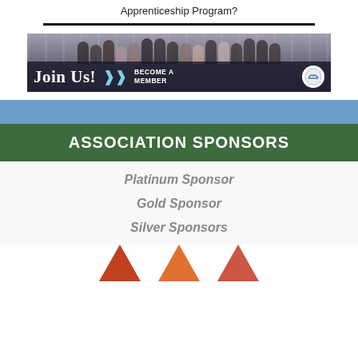Apprenticeship Program?
[Figure (photo): Group photo of association members with overlay text 'Join Us! BECOME A MEMBER' and association logo]
ASSOCIATION SPONSORS
Platinum Sponsor
Gold Sponsor
Silver Sponsors
[Figure (logo): Three triangular/mountain-shaped sponsor logos at the bottom]